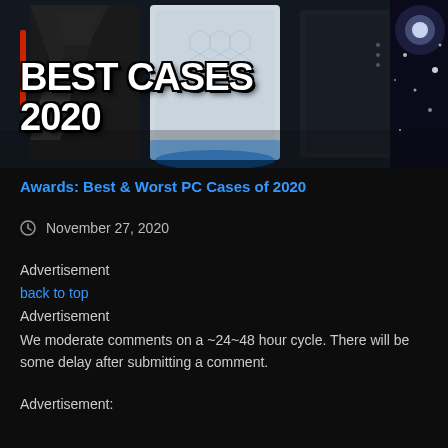[Figure (photo): PC cases photo with 'BEST CASES 2020' text overlay on dark background with gaming computer cases displayed]
Awards: Best & Worst PC Cases of 2020
November 27, 2020
Advertisement
back to top
Advertisement
We moderate comments on a ~24~48 hour cycle. There will be some delay after submitting a comment.
Advertisement: